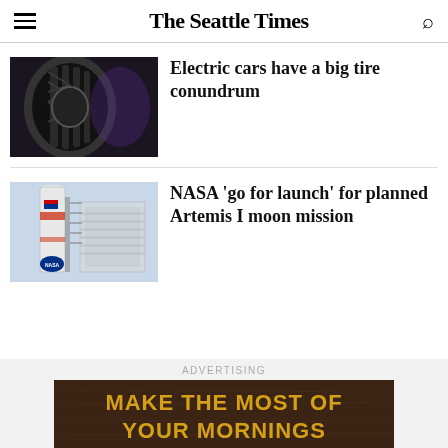The Seattle Times
[Figure (photo): Close-up of a tire tread on a vehicle]
Electric cars have a big tire conundrum
[Figure (photo): NASA rocket and launch facility building]
NASA 'go for launch' for planned Artemis I moon mission
ADVERTISING
[Figure (other): Advertisement banner: MAKE THE MOST OF YOUR MORNINGS]